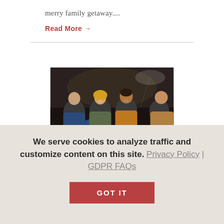merry family getaway....
Read More →
[Figure (photo): Group of four friends laughing and socializing around a table in a dark bar/restaurant setting, sharing food and drinks]
We serve cookies to analyze traffic and customize content on this site. Privacy Policy | GDPR FAQs
GOT IT